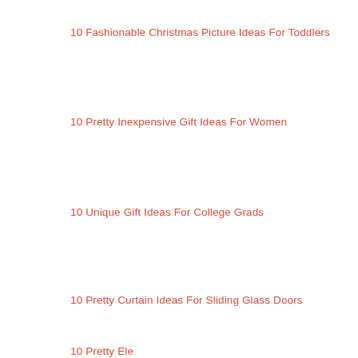10 Fashionable Christmas Picture Ideas For Toddlers
10 Pretty Inexpensive Gift Ideas For Women
10 Unique Gift Ideas For College Grads
10 Pretty Curtain Ideas For Sliding Glass Doors
10 Pretty Ele...